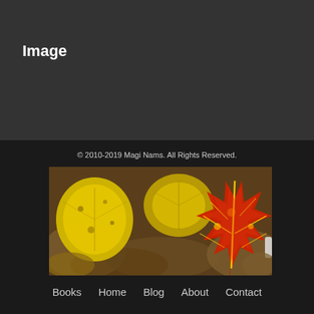Image
© 2010-2019 Magi Nams. All Rights Reserved.
[Figure (photo): Close-up photograph of autumn leaves on the ground: two bright yellow leaves, one large red and yellow maple leaf in the center-right, surrounded by brown fallen leaves.]
Books   Home   Blog   About   Contact